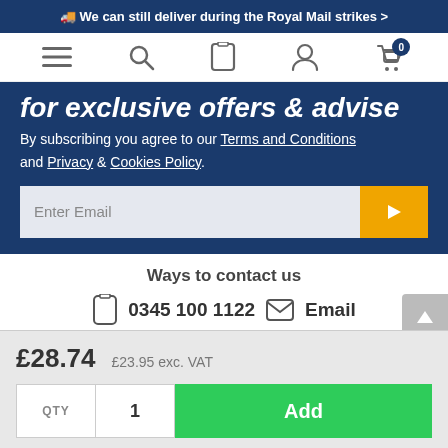🚚 We can still deliver during the Royal Mail strikes >
[Figure (screenshot): Navigation bar with hamburger menu, search icon, mobile icon, account icon, and shopping cart with badge showing 0]
for exclusive offers & advise
By subscribing you agree to our Terms and Conditions and Privacy & Cookies Policy.
Enter Email [input field with submit arrow button]
Ways to contact us
0345 100 1122  Email
More ways to get in touch with Cooksongold
£28.74  £23.95 exc. VAT
QTY  1  Add